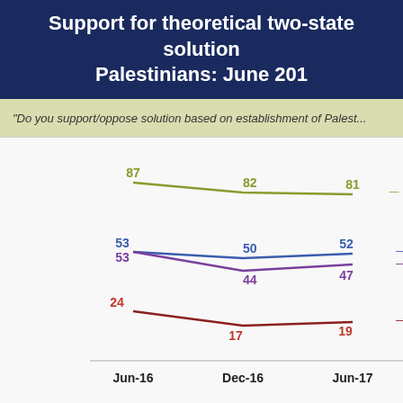Support for theoretical two-state solution among Palestinians: June 2016–...
"Do you support/oppose solution based on establishment of Pales...
[Figure (line-chart): Support for theoretical two-state solution among Palestinians]